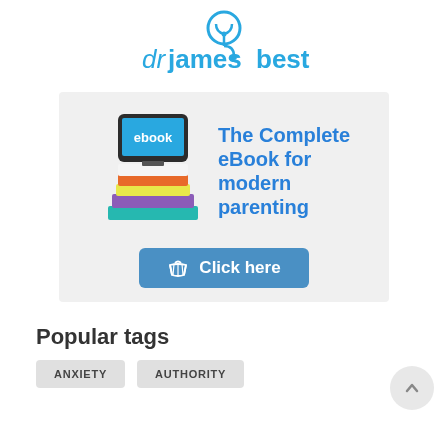[Figure (logo): dr james best logo with stethoscope icon, blue text]
[Figure (infographic): eBook advertisement: stack of books with tablet showing 'ebook', text 'The Complete eBook for modern parenting', blue 'Click here' button with shopping basket icon]
Popular tags
ANXIETY
AUTHORITY